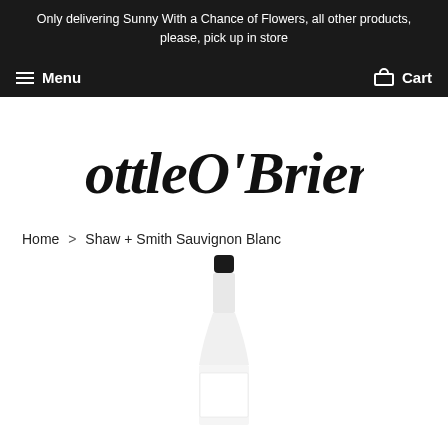Only delivering Sunny With a Chance of Flowers, all other products, please, pick up in store
Menu   Cart
[Figure (logo): BottleO'Briens stylized script logo in black on white background]
Home > Shaw + Smith Sauvignon Blanc
[Figure (photo): Wine bottle of Shaw + Smith Sauvignon Blanc, showing the top portion of the bottle with black capsule and white label, on white background]